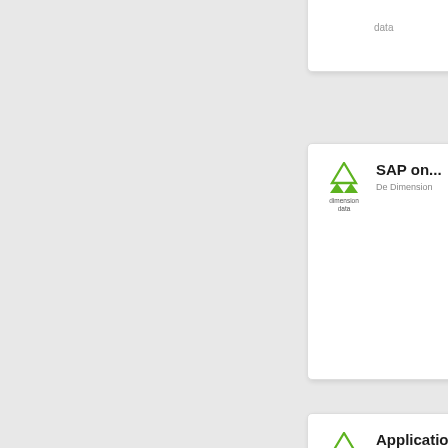[Figure (screenshot): Partial view of a list of content cards, each showing a Dimension Data logo and a truncated title and subtitle. Cards visible: first card (partially cut, showing only 'data' text at top), SAP on... / De Dimension, Application... / De Dimension, SAP on... / De Dimension, Art of the... / De Dimension.]